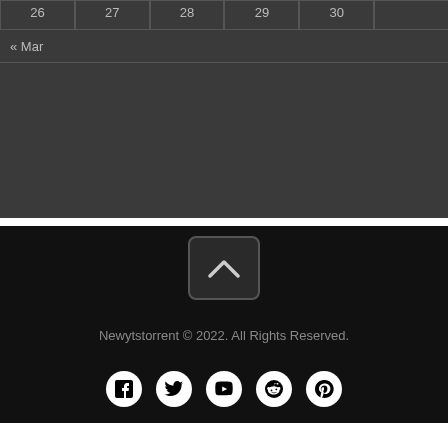| 26 | 27 | 28 | 29 | 30 |
| --- | --- | --- | --- | --- |
|  |
« Mar
Newytstorrent © 2022. All Rights Reserved.
[Figure (infographic): Back to top chevron button]
[Figure (infographic): Social media icons: Facebook, Twitter, YouTube, Reddit, Pinterest]